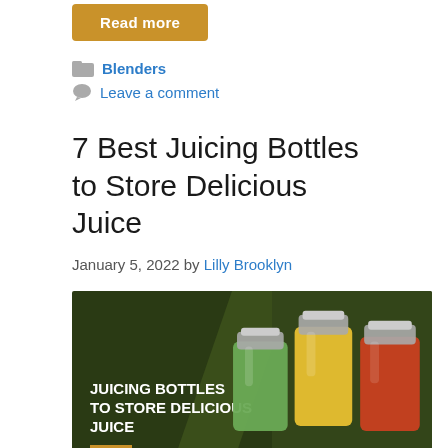Read more
Blenders
Leave a comment
7 Best Juicing Bottles to Store Delicious Juice
January 5, 2022 by Lilly Brooklyn
[Figure (photo): Featured image for article about juicing bottles showing dark green background with diagonal design, white bold text reading JUICING BOTTLES TO STORE DELICIOUS JUICE with a gold underline, and glass jars with colorful contents on the right side]